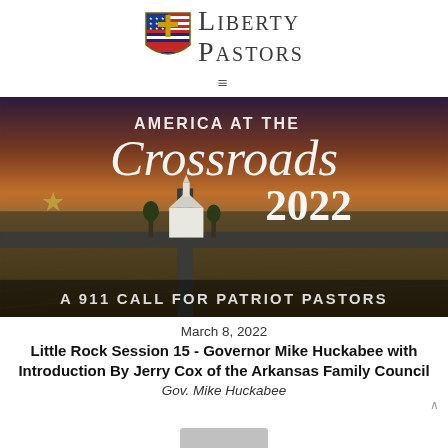[Figure (logo): Liberty Pastors logo with shield containing cross and American flag design, with text 'Liberty Pastors']
[Figure (illustration): America at the Crossroads 2022 banner image — aerial photo of a rural crossroads with a white church, farmland at sunset. Text overlay reads 'AMERICA AT THE Crossroads 2022' and 'A 911 CALL FOR PATRIOT PASTORS']
March 8, 2022
Little Rock Session 15 - Governor Mike Huckabee with Introduction By Jerry Cox of the Arkansas Family Council
Gov. Mike Huckabee